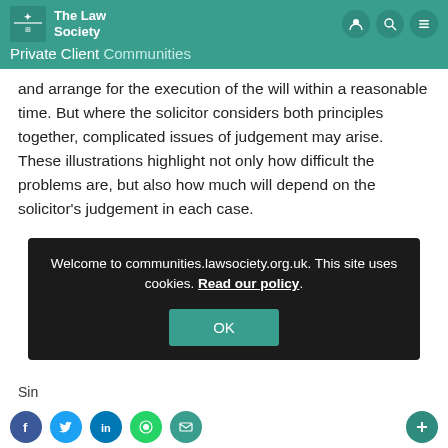The Law Society — Private Client Communities
and arrange for the execution of the will within a reasonable time. But where the solicitor considers both principles together, complicated issues of judgement may arise. These illustrations highlight not only how difficult the problems are, but also how much will depend on the solicitor's judgement in each case.
Welcome to communities.lawsociety.org.uk. This site uses cookies. Read our policy.
OK
Sin